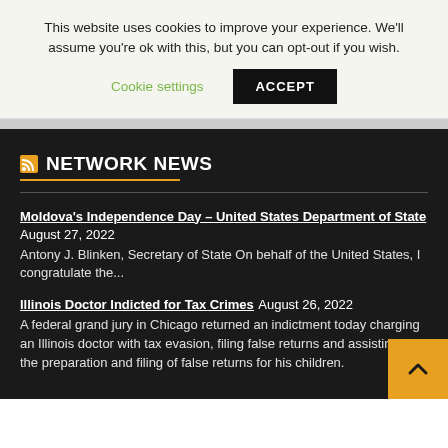This website uses cookies to improve your experience. We'll assume you're ok with this, but you can opt-out if you wish.
Cookie settings  ACCEPT
NETWORK NEWS
Moldova's Independence Day – United States Department of State August 27, 2022
Antony J. Blinken, Secretary of State On behalf of the United States, I congratulate the...
Illinois Doctor Indicted for Tax Crimes August 26, 2022
A federal grand jury in Chicago returned an indictment today charging an Illinois doctor with tax evasion, filing false returns and assisting in the preparation and filing of false returns for his children.